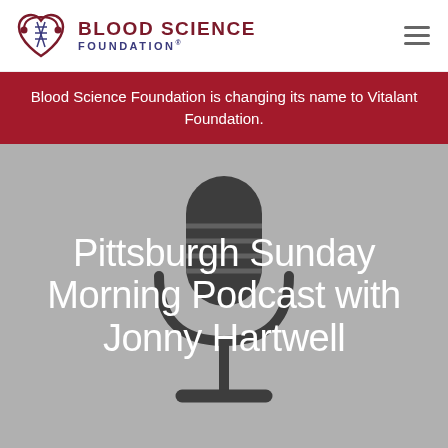[Figure (logo): Blood Science Foundation logo with heart and DNA double helix icon on left, 'BLOOD SCIENCE FOUNDATION' text on right in dark red and navy]
Blood Science Foundation is changing its name to Vitalant Foundation.
[Figure (illustration): Microphone silhouette icon in black on grey background]
Pittsburgh Sunday Morning Podcast with Jonny Hartwell